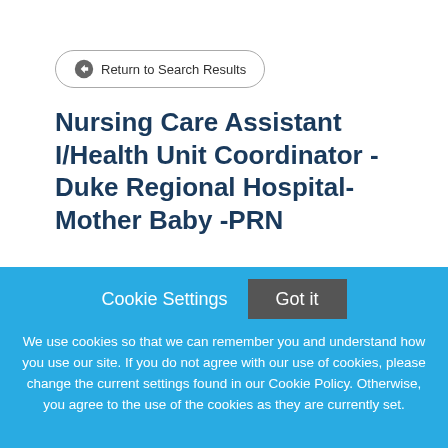Return to Search Results
Nursing Care Assistant I/Health Unit Coordinator - Duke Regional Hospital- Mother Baby -PRN
Cookie Settings
Got it
We use cookies so that we can remember you and understand how you use our site. If you do not agree with our use of cookies, please change the current settings found in our Cookie Policy. Otherwise, you agree to the use of the cookies as they are currently set.